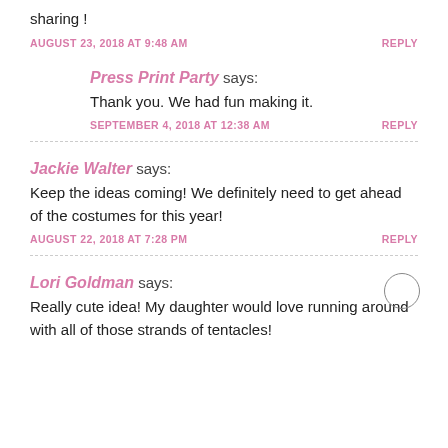sharing !
AUGUST 23, 2018 AT 9:48 AM
REPLY
Press Print Party says:
Thank you. We had fun making it.
SEPTEMBER 4, 2018 AT 12:38 AM
REPLY
Jackie Walter says:
Keep the ideas coming! We definitely need to get ahead of the costumes for this year!
AUGUST 22, 2018 AT 7:28 PM
REPLY
Lori Goldman says:
Really cute idea! My daughter would love running around with all of those strands of tentacles!